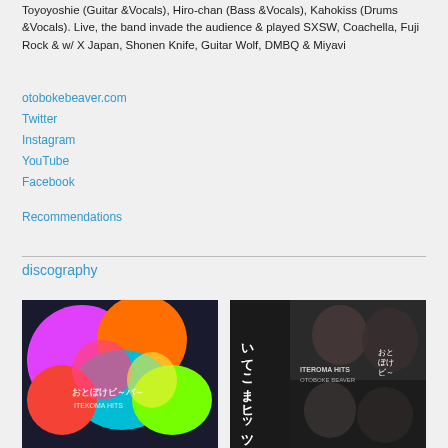Toyoyoshie (Guitar &Vocals), Hiro-chan (Bass &Vocals), Kahokiss (Drums &Vocals). Live, the band invade the audience & played SXSW, Coachella, Fuji Rock & w/ X Japan, Shonen Knife, Guitar Wolf, DMBQ & Miyavi
otobokebeaver.com
Twitter
Instagram
YouTube
Facebook
Recommendations
discography
[Figure (photo): Colorful psychedelic album cover with band members with vivid face paint and bright colors]
[Figure (photo): Album cover with Japanese text reading 'itekoma hits' and ITEROMA HITS by OTOBOKE BEAVER, dark moody photo of four women with black hair]